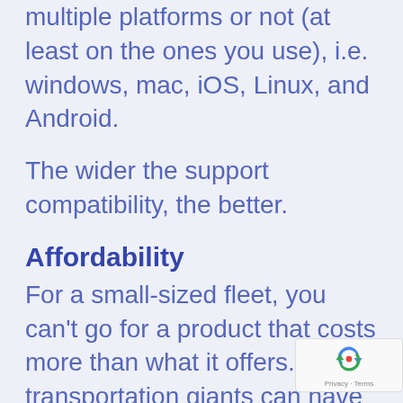multiple platforms or not (at least on the ones you use), i.e. windows, mac, iOS, Linux, and Android.
The wider the support compatibility, the better.
Affordability
For a small-sized fleet, you can't go for a product that costs more than what it offers. The transportation giants can have all the high-tech and expensive trackers they need, but you should look for cost-effective ones, as well...